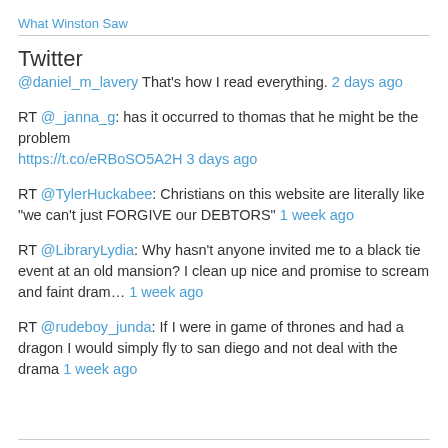What Winston Saw
Twitter
@daniel_m_lavery That's how I read everything. 2 days ago
RT @_janna_g: has it occurred to thomas that he might be the problem https://t.co/eRBoSO5A2H 3 days ago
RT @TylerHuckabee: Christians on this website are literally like "we can't just FORGIVE our DEBTORS" 1 week ago
RT @LibraryLydia: Why hasn't anyone invited me to a black tie event at an old mansion? I clean up nice and promise to scream and faint dram… 1 week ago
RT @rudeboy_junda: If I were in game of thrones and had a dragon I would simply fly to san diego and not deal with the drama 1 week ago